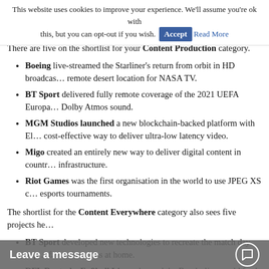This website uses cookies to improve your experience. We'll assume you're ok with this, but you can opt-out if you wish. Accept Read More
There are five on the shortlist for your Content Production category.
Boeing live-streamed the Starliner's return from orbit in HD broadcast from a remote desert location for NASA TV.
BT Sport delivered fully remote coverage of the 2021 UEFA Europa... Dolby Atmos sound.
MGM Studios launched a new blockchain-backed platform with El... cost-effective way to deliver ultra-low latency video.
Migo created an entirely new way to deliver digital content in countr... infrastructure.
Riot Games was the first organisation in the world to use JPEG XS c... esports tournaments.
The shortlist for the Content Everywhere category also sees five projects he...
BT Sport developed new technologies to recreate the match day exp... favourite teams at home.
DFL Deutsche Fußball Liga enhanced the Bundesliga world feed w... to follow the matches, teams and players that interest them the most, experience with detailed graphics and data.
In The Room used AI and exclusive Ultra HD content for consumer... like Nile Rodgers.
Mediapro was shortlisted for the rapid growth of Ubeat, its esports a...
Sky Sports and SimplyLive for their remote production partnership, based, multicamera production environment and also has a positive e...
Hobbs added: "This year... g o... in the..."